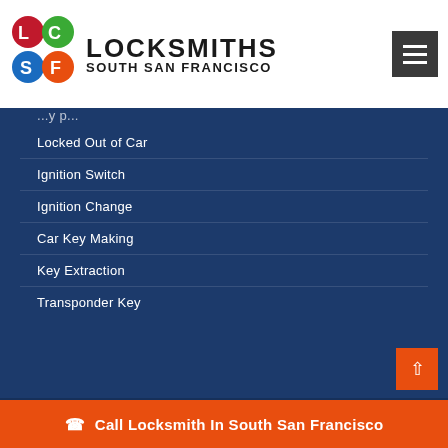[Figure (logo): Locksmiths South San Francisco logo with colorful circular letter icons (L, S, S, F) and bold text LOCKSMITHS / SOUTH SAN FRANCISCO]
Locked Out of Car
Ignition Switch
Ignition Change
Car Key Making
Key Extraction
Transponder Key
Call Locksmith In South San Francisco